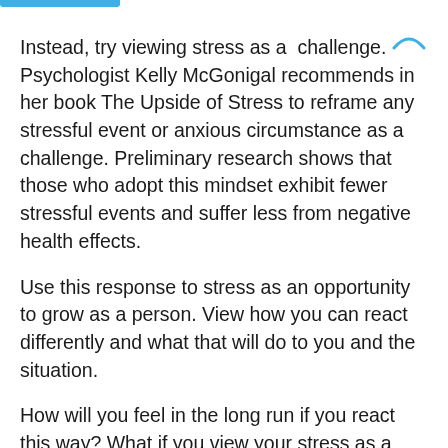Instead, try viewing stress as a  challenge. Psychologist Kelly McGonigal recommends in her book The Upside of Stress to reframe any stressful event or anxious circumstance as a challenge. Preliminary research shows that those who adopt this mindset exhibit fewer stressful events and suffer less from negative health effects.
Use this response to stress as an opportunity to grow as a person. View how you can react differently and what that will do to you and the situation.
How will you feel in the long run if you react this way? What if you view your stress as a long-lost friend who needs a break or some